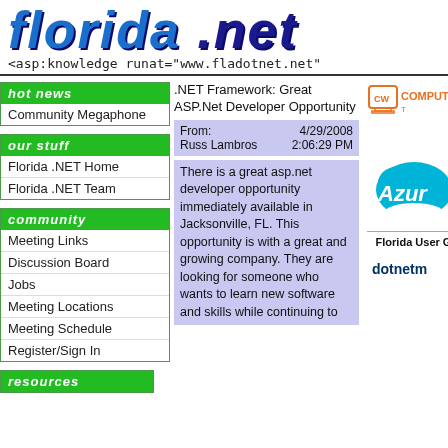florida .net
<asp:knowledge runat="www.fladotnet.net"
HOT NEWS
Community Megaphone
OUR STUFF
Florida .NET Home
Florida .NET Team
COMMUNITY
Meeting Links
Discussion Board
Jobs
Meeting Locations
Meeting Schedule
Register/Sign In
RESOURCES
.NET Framework: Great ASP.Net Developer Opportunity
From: 4/29/2008
Russ Lambros 2:06:29 PM
There is a great asp.net developer opportunity immediately available in Jacksonville, FL. This opportunity is with a great and growing company. They are looking for someone who wants to learn new software and skills while continuing to
[Figure (logo): ComputerWorld logo with orange monitor icon and text COMPUT]
[Figure (logo): Microsoft Azure cloud logo - blue cloud shape with text Azur]
Florida User G
[Figure (logo): dotnetm logo partial]